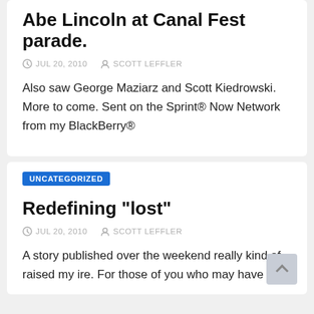Abe Lincoln at Canal Fest parade.
JUL 20, 2010   SCOTT LEFFLER
Also saw George Maziarz and Scott Kiedrowski. More to come. Sent on the Sprint® Now Network from my BlackBerry®
UNCATEGORIZED
Redefining "lost"
JUL 20, 2010   SCOTT LEFFLER
A story published over the weekend really kind of raised my ire. For those of you who may have